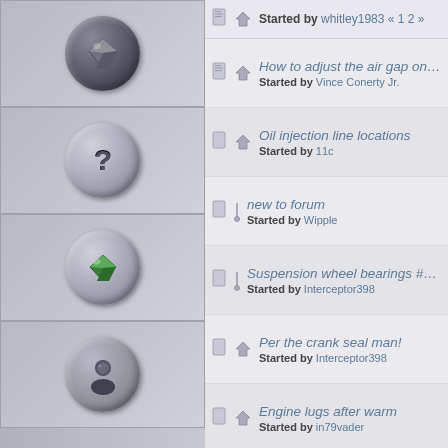[Figure (screenshot): Forum thread list with sidebar icons on the left showing 4 circular badge icons, and a list of forum thread titles with 'Started by' usernames on the right.]
Started by whitley1983 « 1 2 »
How to adjust the air gap on the 79 Invader 340 flyw... — Started by Vince Conerty Jr.
Oil injection line locations — Started by 11c
new to forum — Started by Wipple
Suspension wheel bearings #6205-2RS — Started by Interceptor398
Per the crank seal man! — Started by Interceptor398
Engine lugs after warm — Started by in79vader
I'm back! — Started by wisc79intruderguy
Oil pump gear removel — Started by chaddyg8
78 invader 440 crank case oil